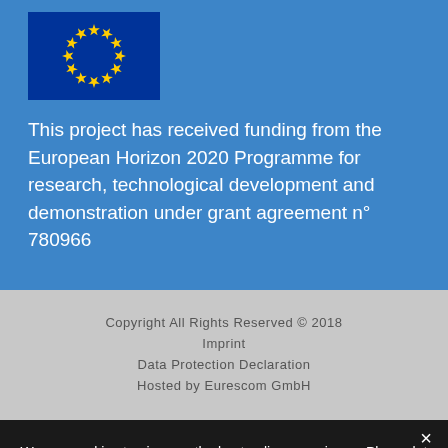[Figure (logo): European Union flag — blue background with circle of 12 yellow stars]
This project has received funding from the European Horizon 2020 Programme for research, technological development and demonstration under grant agreement n° 780966
Copyright All Rights Reserved © 2018
Imprint
Data Protection Declaration
Hosted by Eurescom GmbH
We use cookies to give you the best online experience. Please let us know if you agree to all of these cookies.